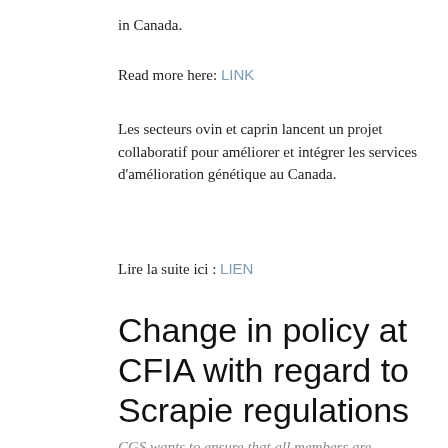in Canada.
Read more here: LINK
Les secteurs ovin et caprin lancent un projet collaboratif pour améliorer et intégrer les services d'amélioration génétique au Canada.
Lire la suite ici : LIEN
Change in policy at CFIA with regard to Scrapie regulations
CGS wants to ensure that all members are